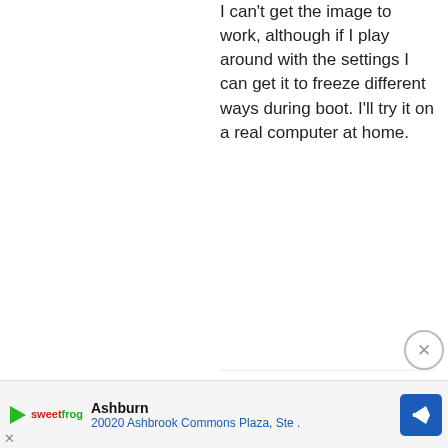I can't get the image to work, although if I play around with the settings I can get it to freeze different ways during boot. I'll try it on a real computer at home.
2012-12-20 1:56 PM
Kaj-de-Vos
Your best quick bet is the live CD on real hardware, or running the install CD on a VirtualBox with an IDE disk, using the VirtualBox install option. It needs special
[Figure (illustration): User avatar: circular icon with green geometric diamond/cross pattern on white background]
Ashburn
20020 Ashbrook Commons Plaza, Ste .